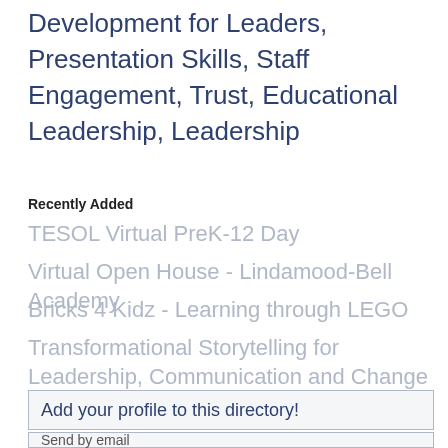Development for Leaders, Presentation Skills, Staff Engagement, Trust, Educational Leadership, Leadership
Recently Added
TESOL Virtual PreK-12 Day
Virtual Open House - Lindamood-Bell Academy
Bricks 4 Kidz - Learning through LEGO
Transformational Storytelling for Leadership, Communication and Change
Add your profile to this directory!
Send by email